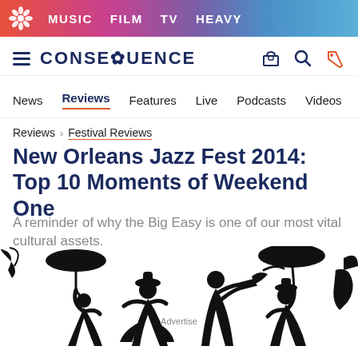MUSIC  FILM  TV  HEAVY
[Figure (logo): Consequence of Sound logo with hamburger menu and navigation icons]
News   Reviews   Features   Live   Podcasts   Videos   Mobile A
Reviews > Festival Reviews
New Orleans Jazz Fest 2014: Top 10 Moments of Weekend One
A reminder of why the Big Easy is one of our most vital cultural assets.
[Figure (illustration): Black silhouette illustration of New Orleans jazz musicians and dancers parading with umbrellas and instruments. 'Advertise' label overlaid.]